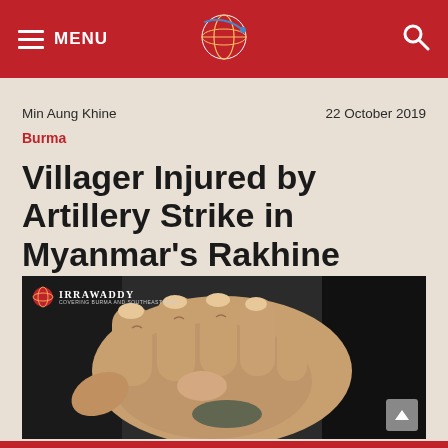MENU | The Irrawaddy Logo | Search
Min Aung Khine
22 October 2019
Burma
Villager Injured by Artillery Strike in Myanmar's Rakhine
[Figure (photo): Close-up photo of an injured hand, with The Irrawaddy logo watermark in the upper left corner and a back-to-top button in the lower right corner.]